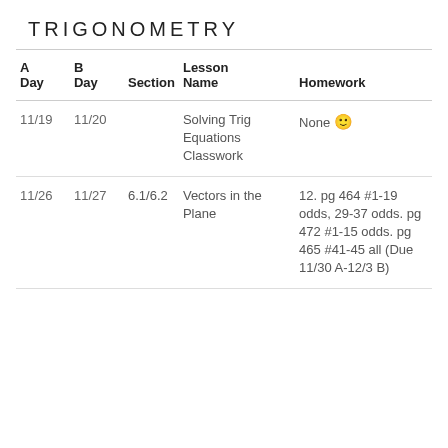TRIGONOMETRY
| A Day | B Day | Section | Lesson Name | Homework |
| --- | --- | --- | --- | --- |
| 11/19 | 11/20 |  | Solving Trig Equations Classwork | None 🙂 |
| 11/26 | 11/27 | 6.1/6.2 | Vectors in the Plane | 12. pg 464 #1-19 odds, 29-37 odds. pg 472 #1-15 odds. pg 465 #41-45 all (Due 11/30 A-12/3 B) |